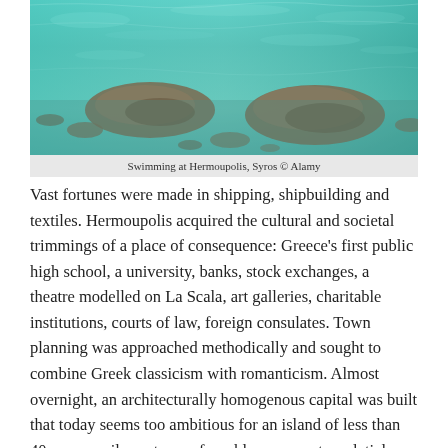[Figure (photo): Aerial or close-up photograph of clear turquoise-green shallow water with rocks and pebbles visible beneath the surface at Hermoupolis, Syros]
Swimming at Hermoupolis, Syros © Alamy
Vast fortunes were made in shipping, shipbuilding and textiles. Hermoupolis acquired the cultural and societal trimmings of a place of consequence: Greece's first public high school, a university, banks, stock exchanges, a theatre modelled on La Scala, art galleries, charitable institutions, courts of law, foreign consulates. Town planning was approached methodically and sought to combine Greek classicism with romanticism. Almost overnight, an architecturally homogenous capital was built that today seems too ambitious for an island of less than 40 square miles: a town of marble pavements, palatial buildings and